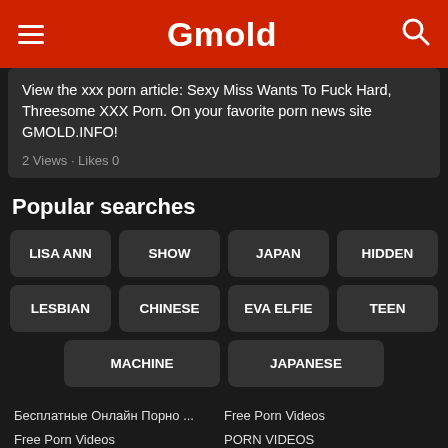Gmold
View the xxx porn article: Sexy Miss Wants To Fuck Hard, Threesome XXX Porn. On your favorite porn news site GMOLD.INFO!
2 Views · Likes 0
Popular searches
LISA ANN
SHOW
JAPAN
HIDDEN
LESBIAN
CHINESE
EVA ELFIE
TEEN
MACHINE
JAPANESE
Бесплатные Онлайн Порно ...
Free Porn Videos
Porn Xxx Videos
Porn Videos Tube
Free Porn Videos
PORN VIDEOS
Free Porn
Porn Videos